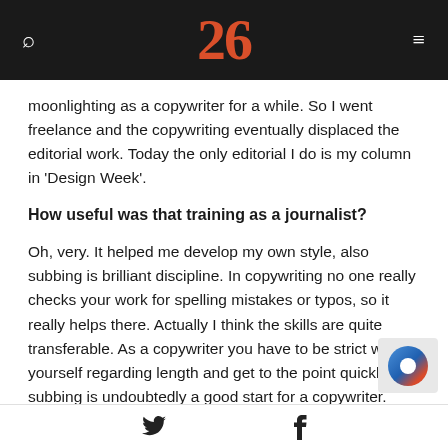26
moonlighting as a copywriter for a while. So I went freelance and the copywriting eventually displaced the editorial work. Today the only editorial I do is my column in 'Design Week'.
How useful was that training as a journalist?
Oh, very. It helped me develop my own style, also subbing is brilliant discipline. In copywriting no one really checks your work for spelling mistakes or typos, so it really helps there. Actually I think the skills are quite transferable. As a copywriter you have to be strict with yourself regarding length and get to the point quickly. But subbing is undoubtedly a good start for a copywriter.